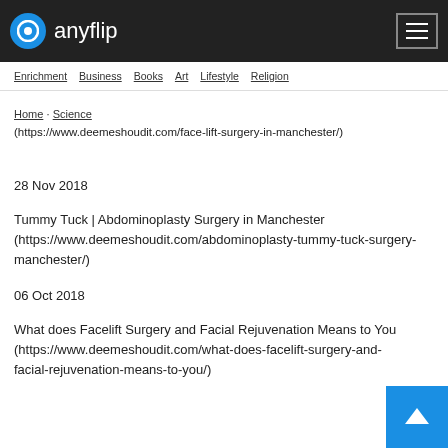anyflip
Enrichment  Business  Books  Art  Lifestyle  Religion
(https://www.deemeshoudit.com/face-lift-surgery-in-manchester/)
28 Nov 2018
Tummy Tuck | Abdominoplasty Surgery in Manchester (https://www.deemeshoudit.com/abdominoplasty-tummy-tuck-surgery-manchester/)
06 Oct 2018
What does Facelift Surgery and Facial Rejuvenation Means to You (https://www.deemeshoudit.com/what-does-facelift-surgery-and-facial-rejuvenation-means-to-you/)